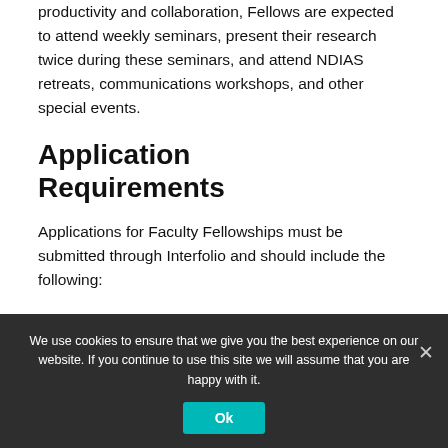productivity and collaboration, Fellows are expected to attend weekly seminars, present their research twice during these seminars, and attend NDIAS retreats, communications workshops, and other special events.
Application Requirements
Applications for Faculty Fellowships must be submitted through Interfolio and should include the following:
We use cookies to ensure that we give you the best experience on our website. If you continue to use this site we will assume that you are happy with it.